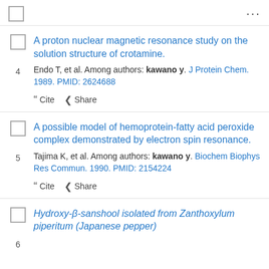4. A proton nuclear magnetic resonance study on the solution structure of crotamine. Endo T, et al. Among authors: kawano y. J Protein Chem. 1989. PMID: 2624688
5. A possible model of hemoprotein-fatty acid peroxide complex demonstrated by electron spin resonance. Tajima K, et al. Among authors: kawano y. Biochem Biophys Res Commun. 1990. PMID: 2154224
6. Hydroxy-β-sanshool isolated from Zanthoxylum piperitum (Japanese pepper)